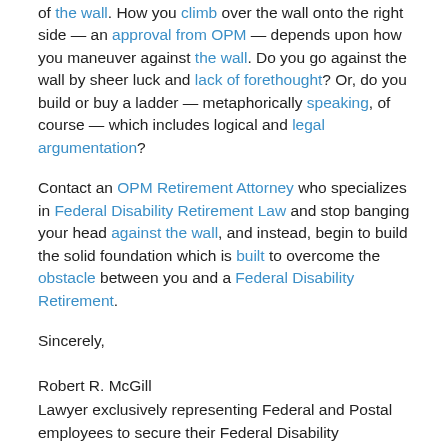of the wall. How you climb over the wall onto the right side — an approval from OPM — depends upon how you maneuver against the wall. Do you go against the wall by sheer luck and lack of forethought? Or, do you build or buy a ladder — metaphorically speaking, of course — which includes logical and legal argumentation?
Contact an OPM Retirement Attorney who specializes in Federal Disability Retirement Law and stop banging your head against the wall, and instead, begin to build the solid foundation which is built to overcome the obstacle between you and a Federal Disability Retirement.
Sincerely,
Robert R. McGill
Lawyer exclusively representing Federal and Postal employees to secure their Federal Disability Retirement